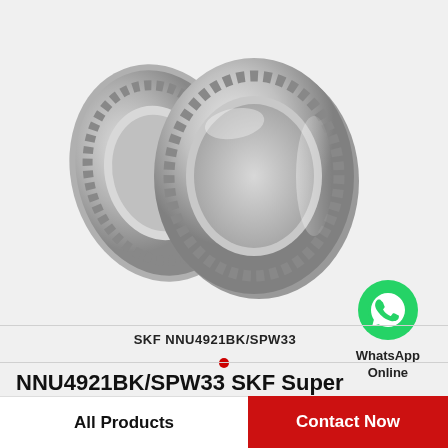[Figure (photo): Two cylindrical roller bearings (SKF NNU4921BK/SPW33), one fully assembled ring and one partially disassembled, shown in metallic silver on a light gray background.]
SKF NNU4921BK/SPW33
[Figure (logo): WhatsApp green phone icon with text 'WhatsApp Online' below it.]
NNU4921BK/SPW33 SKF Super Precision,Super Precision Bearings,Cylindrical…
All Products | Contact Now